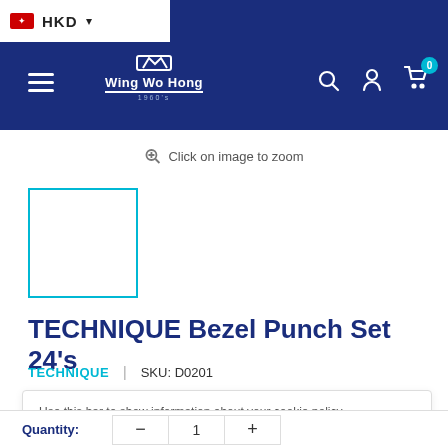HKD | Wing Wo Hong navigation bar with search, account, and cart icons
Click on image to zoom
[Figure (other): Product thumbnail placeholder with cyan border]
TECHNIQUE Bezel Punch Set 24's
TECHNIQUE | SKU: D0201
Use this bar to show information about your cookie policy.
Accept
Quantity: − 1 +